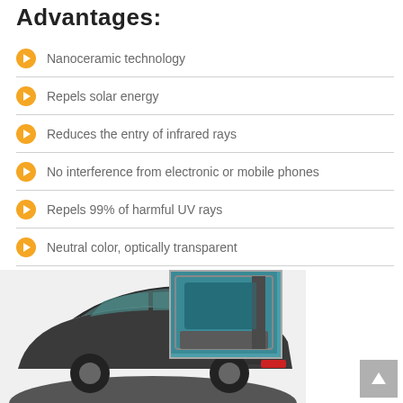Advantages:
Nanoceramic technology
Repels solar energy
Reduces the entry of infrared rays
No interference from electronic or mobile phones
Repels 99% of harmful UV rays
Neutral color, optically transparent
[Figure (photo): Dark sedan car with window tint film applied, alongside an inset showing a close-up of a car door window with tinting applied.]